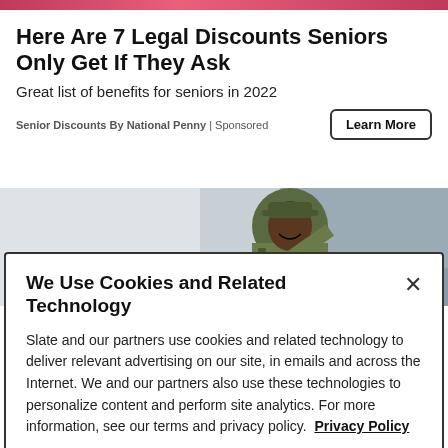[Figure (photo): Top decorative pink/red banner strip]
Here Are 7 Legal Discounts Seniors Only Get If They Ask
Great list of benefits for seniors in 2022
Senior Discounts By National Penny | Sponsored
[Figure (photo): Photo of a soldier in camouflage uniform saluting, partial view]
We Use Cookies and Related Technology
Slate and our partners use cookies and related technology to deliver relevant advertising on our site, in emails and across the Internet. We and our partners also use these technologies to personalize content and perform site analytics. For more information, see our terms and privacy policy.  Privacy Policy
OK